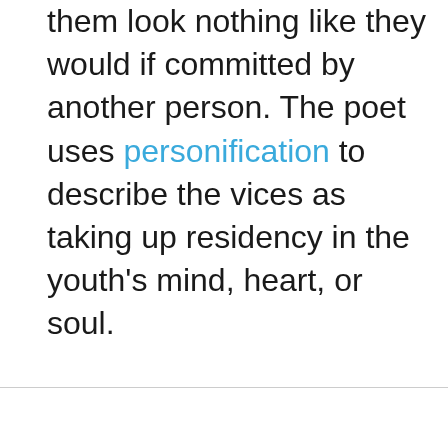them look nothing like they would if committed by another person. The poet uses personification to describe the vices as taking up residency in the youth's mind, heart, or soul.